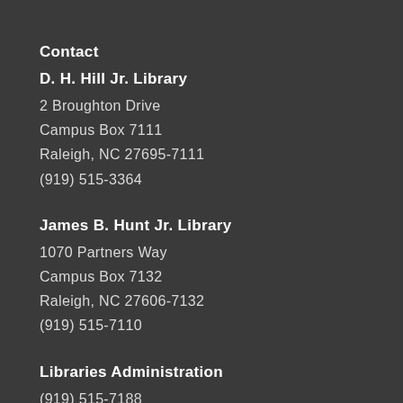Contact
D. H. Hill Jr. Library
2 Broughton Drive
Campus Box 7111
Raleigh, NC 27695-7111
(919) 515-3364
James B. Hunt Jr. Library
1070 Partners Way
Campus Box 7132
Raleigh, NC 27606-7132
(919) 515-7110
Libraries Administration
(919) 515-7188